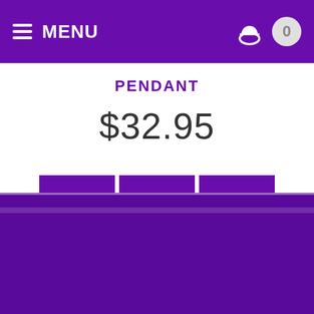MENU
PENDANT
$32.95
[Figure (other): Three purple square buttons: shopping basket icon, heart/wishlist icon, and list/menu icon]
Write Review